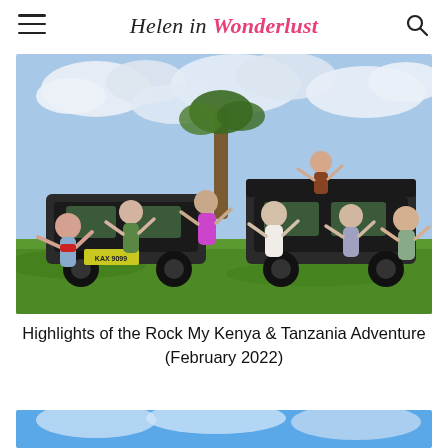Helen in Wonderlust
[Figure (photo): Group of women posing in front of safari jeeps on the Kenyan savanna, arms raised in celebration, with a cloudy sky and green grass in the background.]
Highlights of the Rock My Kenya & Tanzania Adventure (February 2022)
[Figure (photo): Partial view of another photo showing a bright blue sky, cropped at the bottom of the page.]